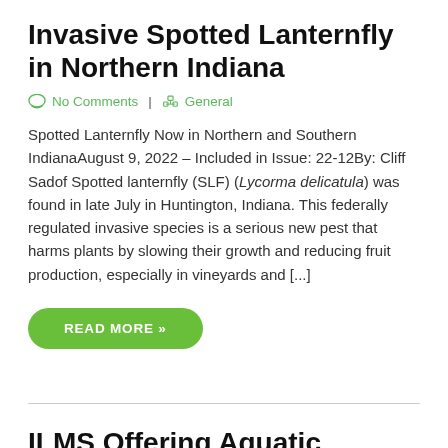Invasive Spotted Lanternfly in Northern Indiana
No Comments | General
Spotted Lanternfly Now in Northern and Southern IndianaAugust 9, 2022 – Included in Issue: 22-12By: Cliff Sadof Spotted lanternfly (SLF) (Lycorma delicatula) was found in late July in Huntington, Indiana. This federally regulated invasive species is a serious new pest that harms plants by slowing their growth and reducing fruit production, especially in vineyards and [...]
READ MORE »
ILMS Offering Aquatic Invasive Plant Workshop